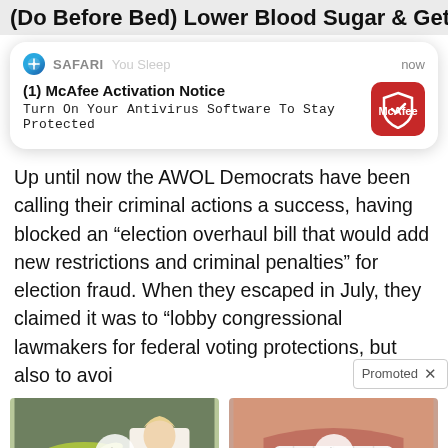(Do Before Bed) Lower Blood Sugar & Get
[Figure (screenshot): Safari push notification card from McAfee: '(1) McAfee Activation Notice - Turn On Your Antivirus Software To Stay Protected', shown as a rounded white card with McAfee red logo icon, timestamp 'now']
Up until now the AWOL Democrats have been calling their criminal actions a success, having blocked an “election overhaul bill that would add new restrictions and criminal penalties” for election fraud. When they escaped in July, they claimed it was to “lobby congressional lawmakers for federal voting protections, but also to avoid…”
[Figure (photo): Promoted video thumbnail: A woman in a white lab coat next to a bowl of green liquid. Play button overlay. Caption: 'The Truth About Your Liver And Belly Fat'. Stat: 6,942]
[Figure (photo): Promoted video thumbnail: Close-up of a mouth with a blue pill on the tongue. Play button overlay. Caption: '4 Worst Blood Pressure Drugs (Avoid At All Costs)'. Stat: 69,046]